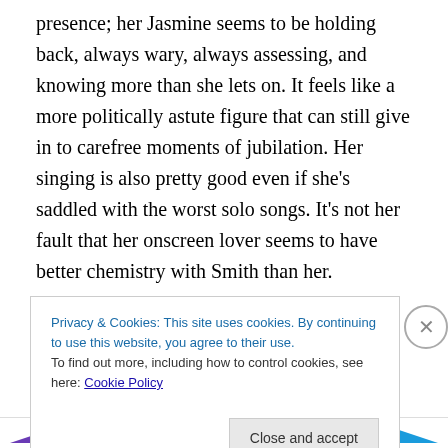presence; her Jasmine seems to be holding back, always wary, always assessing, and knowing more than she lets on. It feels like a more politically astute figure that can still give in to carefree moments of jubilation. Her singing is also pretty good even if she's saddled with the worst solo songs. It's not her fault that her onscreen lover seems to have better chemistry with Smith than her.

The new Aladdin does have some of its own virtues. The costumes are gorgeous and the sets are carefully crafted, making the world feel lavish and real and often stunning.
Privacy & Cookies: This site uses cookies. By continuing to use this website, you agree to their use.
To find out more, including how to control cookies, see here: Cookie Policy
Close and accept